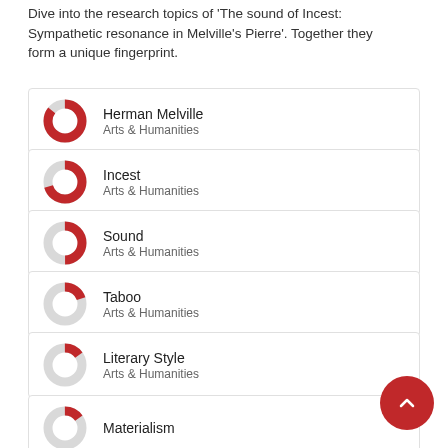Dive into the research topics of 'The sound of Incest: Sympathetic resonance in Melville's Pierre'. Together they form a unique fingerprint.
[Figure (donut-chart): Donut chart for Herman Melville - large red filled portion (~85%)]
[Figure (donut-chart): Donut chart for Incest - large red filled portion (~70%)]
[Figure (donut-chart): Donut chart for Sound - medium red filled portion (~50%)]
[Figure (donut-chart): Donut chart for Taboo - small red filled portion (~20%)]
[Figure (donut-chart): Donut chart for Literary Style - small red filled portion (~15%)]
[Figure (donut-chart): Donut chart for Materialism - small red filled portion (~15%)]